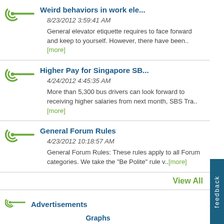Weird behaviors in work ele... 8/23/2012 3:59:41 AM General elevator etiquette requires to face forward and keep to yourself. However, there have been..[more]
Higher Pay for Singapore SB... 4/24/2012 4:45:35 AM More than 5,300 bus drivers can look forward to receiving higher salaries from next month, SBS Tra..[more]
General Forum Rules 4/23/2012 10:18:57 AM General Forum Rules: These rules apply to all Forum categories. We take the "Be Polite" rule v..[more]
View All
Advertisements
Graphs